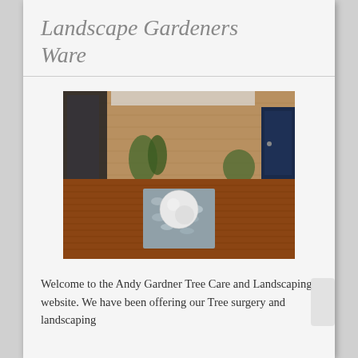Landscape Gardeners Ware
[Figure (photo): A landscaped garden patio featuring warm-toned hardwood decking with a recessed square bed of grey/blue pebbles housing a large white spherical stone ornament. A brick wall with plants runs across the back, with a dark-framed glass structure on the left and a dark door on the right.]
Welcome to the Andy Gardner Tree Care and Landscaping website. We have been offering our Tree surgery and landscaping